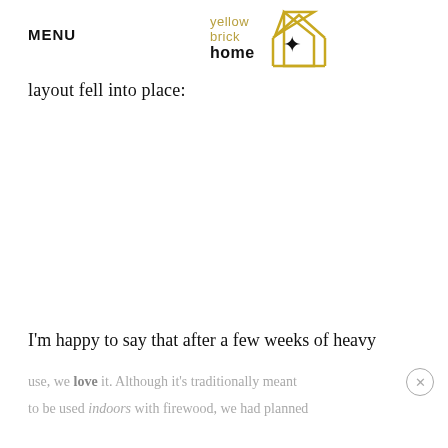MENU | Yellow Brick Home logo
layout fell into place:
I'm happy to say that after a few weeks of heavy
use, we love it. Although it's traditionally meant to be used indoors with firewood, we had planned